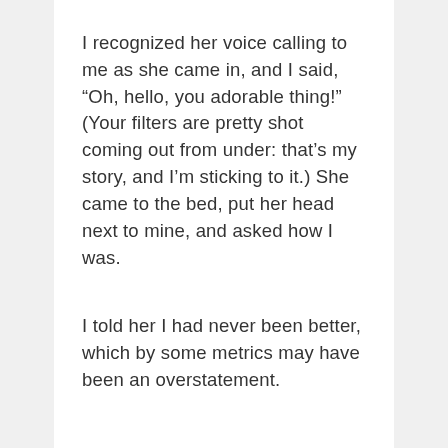I recognized her voice calling to me as she came in, and I said, “Oh, hello, you adorable thing!” (Your filters are pretty shot coming out from under: that’s my story, and I’m sticking to it.) She came to the bed, put her head next to mine, and asked how I was.
I told her I had never been better, which by some metrics may have been an overstatement.